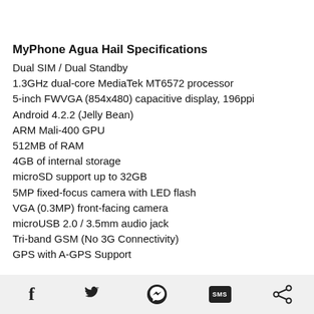MyPhone Agua Hail Specifications
Dual SIM / Dual Standby
1.3GHz dual-core MediaTek MT6572 processor
5-inch FWVGA (854x480) capacitive display, 196ppi
Android 4.2.2 (Jelly Bean)
ARM Mali-400 GPU
512MB of RAM
4GB of internal storage
microSD support up to 32GB
5MP fixed-focus camera with LED flash
VGA (0.3MP) front-facing camera
microUSB 2.0 / 3.5mm audio jack
Tri-band GSM (No 3G Connectivity)
GPS with A-GPS Support
Facebook, Twitter, Messenger, SMS, Share icons